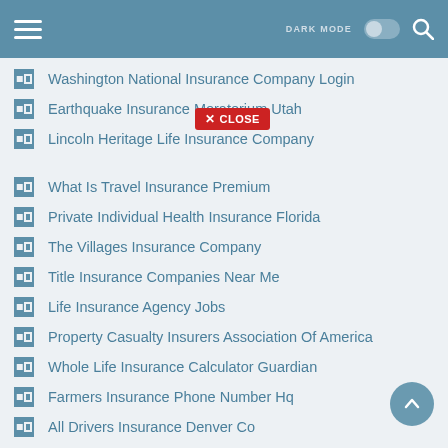DARK MODE [toggle] [search]
Washington National Insurance Company Login
Earthquake Insurance Moratorium Utah
Lincoln Heritage Life Insurance Company
What Is Travel Insurance Premium
Private Individual Health Insurance Florida
The Villages Insurance Company
Title Insurance Companies Near Me
Life Insurance Agency Jobs
Property Casualty Insurers Association Of America
Whole Life Insurance Calculator Guardian
Farmers Insurance Phone Number Hq
All Drivers Insurance Denver Co